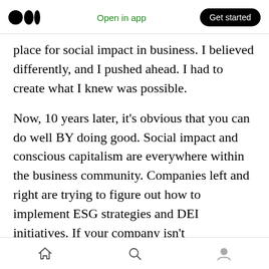Medium logo | Open in app | Get started
place for social impact in business. I believed differently, and I pushed ahead. I had to create what I knew was possible.
Now, 10 years later, it’s obvious that you can do well BY doing good. Social impact and conscious capitalism are everywhere within the business community. Companies left and right are trying to figure out how to implement ESG strategies and DEI initiatives. If your company isn’t incorporating social impact into its operations, you are leaving money on the table. It’s clear that your customers want you to be good, and they
Home | Search | Profile